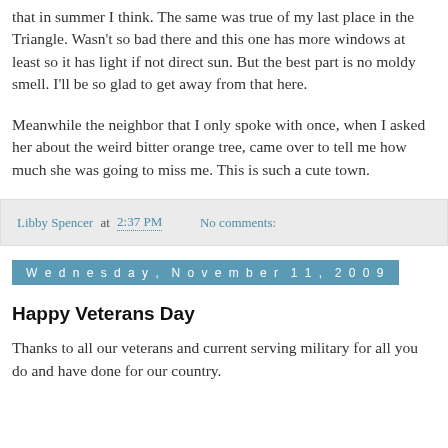that in summer I think. The same was true of my last place in the Triangle. Wasn't so bad there and this one has more windows at least so it has light if not direct sun. But the best part is no moldy smell. I'll be so glad to get away from that here.
Meanwhile the neighbor that I only spoke with once, when I asked her about the weird bitter orange tree, came over to tell me how much she was going to miss me. This is such a cute town.
Libby Spencer at 2:37 PM   No comments:
Wednesday, November 11, 2009
Happy Veterans Day
Thanks to all our veterans and current serving military for all you do and have done for our country.